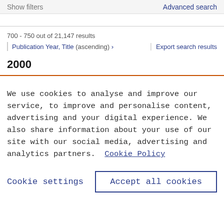Show filters
Advanced search
700 - 750 out of 21,147 results
Publication Year, Title (ascending) >
Export search results
2000
We use cookies to analyse and improve our service, to improve and personalise content, advertising and your digital experience. We also share information about your use of our site with our social media, advertising and analytics partners.  Cookie Policy
Cookie settings
Accept all cookies